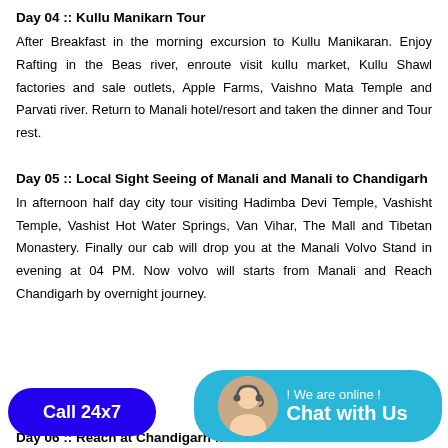Day 04 :: Kullu Manikarn Tour
After Breakfast in the morning excursion to Kullu Manikaran. Enjoy Rafting in the Beas river, enroute visit kullu market, Kullu Shawl factories and sale outlets, Apple Farms, Vaishno Mata Temple and Parvati river. Return to Manali hotel/resort and taken the dinner and Tour rest.
Day 05 :: Local Sight Seeing of Manali and Manali to Chandigarh
In afternoon half day city tour visiting Hadimba Devi Temple, Vashisht Temple, Vashist Hot Water Springs, Van Vihar, The Mall and Tibetan Monastery. Finally our cab will drop you at the Manali Volvo Stand in evening at 04 PM. Now volvo will starts from Manali and Reach Chandigarh by overnight journey.
Day 06 :: Reach at Chandigarh from Manali